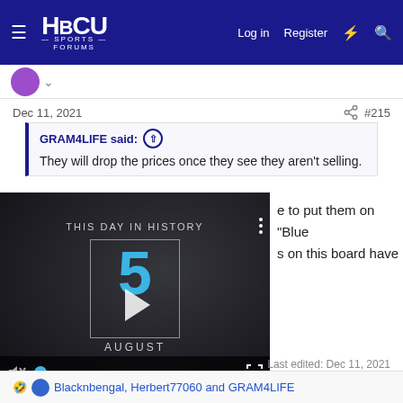HBCU Sports Forums — Log in | Register
Dec 11, 2021   #215
GRAM4LIFE said: They will drop the prices once they see they aren't selling.
[Figure (screenshot): Video thumbnail showing 'THIS DAY IN HISTORY' with number 5 and AUGUST text, play button, video controls with mute icon, progress bar, and fullscreen icon. Three dots menu visible.]
e to put them on "Blue s on this board have no idea what "The Blue Light Special" is. 🤣
Last edited: Dec 11, 2021
🤣 Blacknbengal, Herbert77060 and GRAM4LIFE